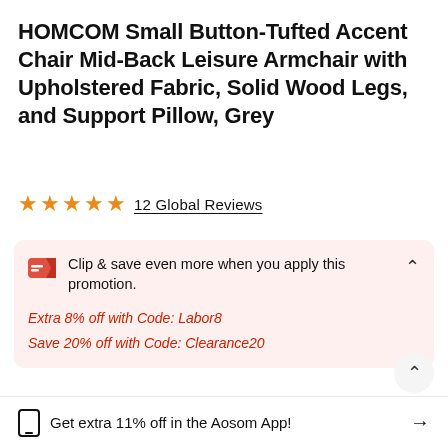HOMCOM Small Button-Tufted Accent Chair Mid-Back Leisure Armchair with Upholstered Fabric, Solid Wood Legs, and Support Pillow, Grey
★★★★★  12 Global Reviews
Clip & save even more when you apply this promotion.
Extra 8% off with Code: Labor8
Save 20% off with Code: Clearance20
Get extra 11% off in the Aosom App!